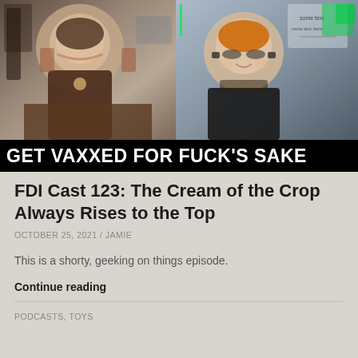[Figure (photo): Thumbnail image showing two people in a YouTube/podcast thumbnail. Left person has mouth open laughing, wearing brown shirt with necklace. Right person wearing orange beanie and sunglasses in black shirt. Black bar overlaid with text: GET VAXXED FOR FUCK'S SAKE]
FDI Cast 123: The Cream of the Crop Always Rises to the Top
OCTOBER 25, 2021 / JAMIE
This is a shorty, geeking on things episode.
Continue reading
PODCASTS, TOYS